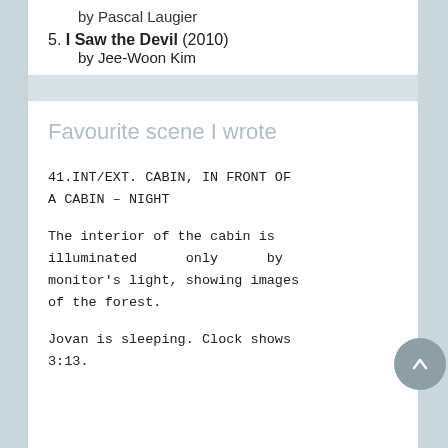by Pascal Laugier
5. I Saw the Devil (2010)
by Jee-Woon Kim
Favourite scene I wrote
41.INT/EXT. CABIN, IN FRONT OF A CABIN – NIGHT
The interior of the cabin is illuminated only by monitor's light, showing images of the forest.
Jovan is sleeping. Clock shows 3:13.